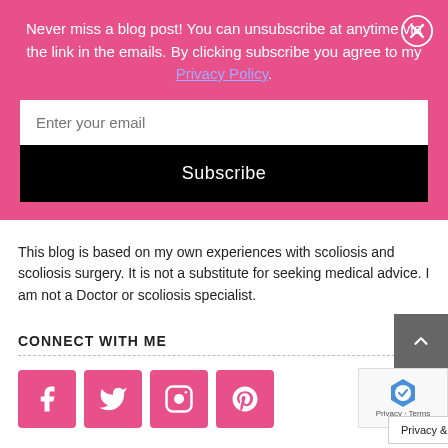Never miss a blog post! You can unsubscribe at anytime via the link in the emails. By clicking subscribe you agree to my Privacy Policy.
Enter your email
Subscribe
This blog is based on my own experiences with scoliosis and scoliosis surgery. It is not a substitute for seeking medical advice. I am not a Doctor or scoliosis specialist.
CONNECT WITH ME
[Figure (infographic): Four pink social media icon buttons: Facebook, Twitter, Instagram, Pinterest]
Privacy & Cookies Policy